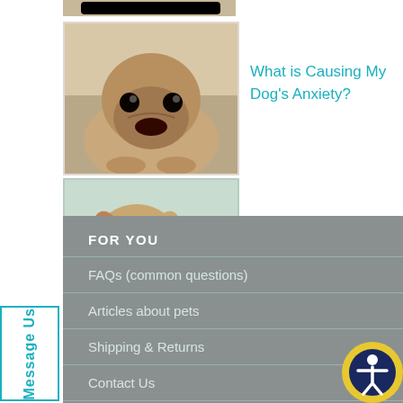[Figure (photo): Cropped top strip of a dog image]
[Figure (photo): Photo of a pug dog lying down looking at camera]
What is Causing My Dog's Anxiety?
[Figure (photo): Photo of a Jack Russell terrier lying on a teal cushion]
Does Aromatherapy Really Calm Dogs?
FOR YOU
FAQs (common questions)
Articles about pets
Shipping & Returns
Contact Us
FOR YOUR PETS
Message Us